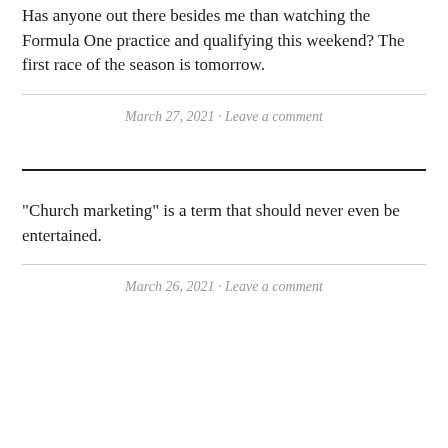Has anyone out there besides me than watching the Formula One practice and qualifying this weekend? The first race of the season is tomorrow.
March 27, 2021 · Leave a comment
“Church marketing” is a term that should never even be entertained.
March 26, 2021 · Leave a comment